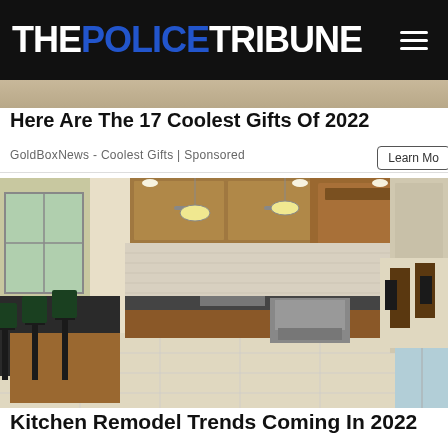THE POLICE TRIBUNE
[Figure (photo): Partial image at top of page, appears to be hands or fingers close-up, cut off by header]
Here Are The 17 Coolest Gifts Of 2022
GoldBoxNews - Coolest Gifts | Sponsored
[Figure (photo): Kitchen remodel photo showing a large kitchen with wooden cabinets, granite countertop island with bar stools, stainless steel appliances, tile backsplash, recessed lighting, and an eating area visible in the background]
Kitchen Remodel Trends Coming In 2022